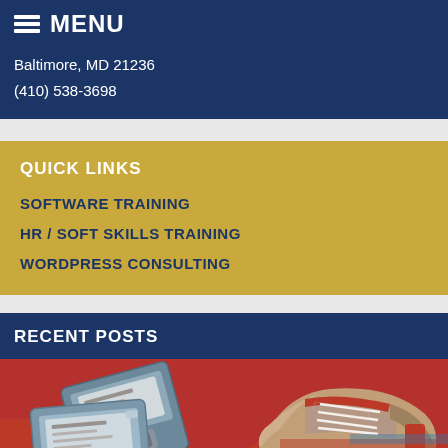MENU
Baltimore, MD 21236
(410) 538-3698
QUICK LINKS
SOFTWARE TRAINING
HR / SOFT SKILLS TRAINING
WORDPRESS CONSULTING
RECENT POSTS
[Figure (photo): Floppy disks and a red/blue sneaker on a red background, styled with a vintage color filter]